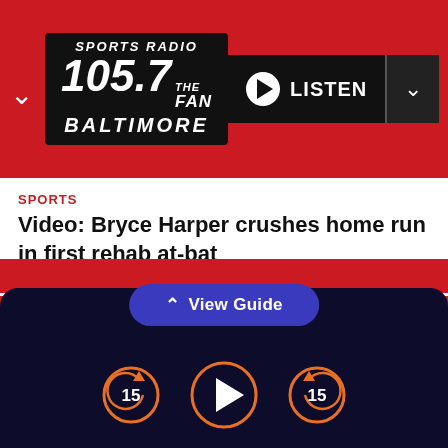[Figure (logo): Sports Radio 105.7 The Fan Baltimore logo on red background with LISTEN button]
SPORTS
Video: Bryce Harper crushes home run in first rehab at-bat
Contact Us
Join The Listener Community
EEO
Public Inspection File
FCC Applications
Advertise with Us
[Figure (screenshot): View Guide button and audio player controls with rewind 15, play, and forward 15 buttons on dark navy background]